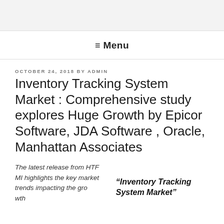≡ Menu
OCTOBER 24, 2018 BY ADMIN
Inventory Tracking System Market : Comprehensive study explores Huge Growth by Epicor Software, JDA Software , Oracle, Manhattan Associates
The latest release from HTF MI highlights the key market trends impacting the growth
"Inventory Tracking System Market"